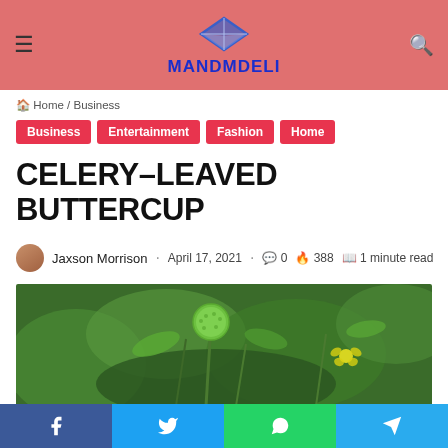MANDMDELI
Home / Business
Business
Entertainment
Fashion
Home
CELERY-LEAVED BUTTERCUP
Jaxson Morrison · April 17, 2021 · 0 · 388 · 1 minute read
[Figure (photo): Close-up photo of a celery-leaved buttercup plant with green round seed head and small yellow flowers]
Facebook Twitter WhatsApp Telegram